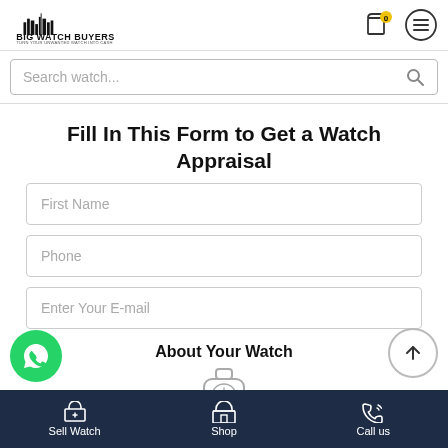[Figure (logo): Big Watch Buyers logo with city skyline silhouette]
Search watch...
Fill In This Form to Get a Watch Appraisal
First Name
Phone
Enter Your E-mail
About Your Watch
[Figure (illustration): Watch icon illustration]
[Figure (illustration): WhatsApp circular button (green)]
[Figure (illustration): Scroll-to-top circular button]
Sell Watch  Shop  Call us